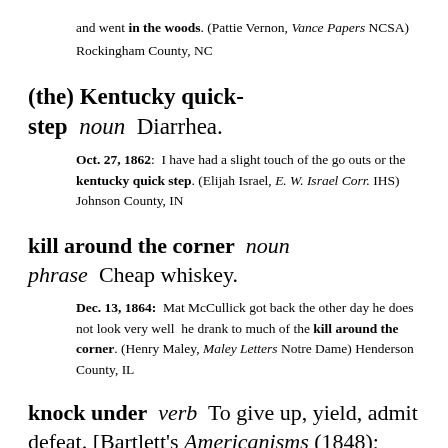and went in the woods. (Pattie Vernon, Vance Papers NCSA)
Rockingham County, NC
(the) Kentucky quick-step  noun  Diarrhea.
Oct. 27, 1862:  I have had a slight touch of the go outs or the kentucky quick step. (Elijah Israel, E. W. Israel Corr. IHS) Johnson County, IN
kill around the corner  noun phrase  Cheap whiskey.
Dec. 13, 1864:  Mat McCullick got back the other day he does not look very well  he drank to much of the kill around the corner. (Henry Maley, Maley Letters Notre Dame) Henderson County, IL
knock under  verb  To give up, yield, admit defeat. [Bartlett's Americanisms (1848); OED knock, verb, Phrasal Verbs, to